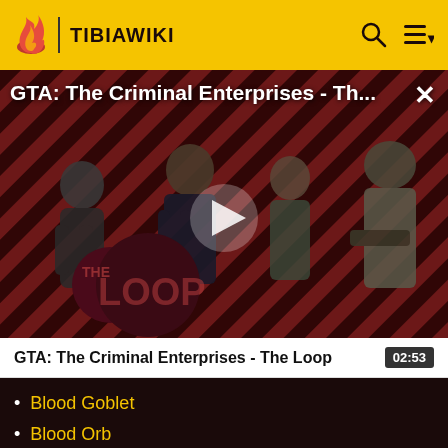TIBIAWIKI
[Figure (screenshot): Video thumbnail for GTA: The Criminal Enterprises - The Loop, showing game characters on a red and black striped background with a play button overlay and 'THE LOOP' text logo]
GTA: The Criminal Enterprises - Th...
GTA: The Criminal Enterprises - The Loop   02:53
Blood Goblet
Blood Orb
Blood Vial